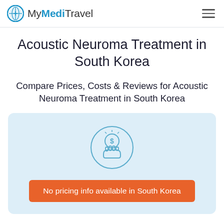MyMediTravel
Acoustic Neuroma Treatment in South Korea
Compare Prices, Costs & Reviews for Acoustic Neuroma Treatment in South Korea
[Figure (illustration): Circular icon of a hand holding a coin with a dollar sign, representing pricing/cost information]
No pricing info available in South Korea